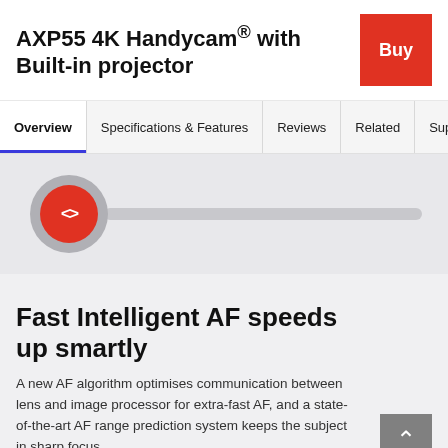AXP55 4K Handycam® with Built-in projector
Buy
Overview | Specifications & Features | Reviews | Related | Support
[Figure (illustration): A video slider control UI element with a red circular button with angle bracket icons on a gray track, set against a light gray background]
Fast Intelligent AF speeds up smartly
A new AF algorithm optimises communication between lens and image processor for extra-fast AF, and a state-of-the-art AF range prediction system keeps the subject in sharp focus.